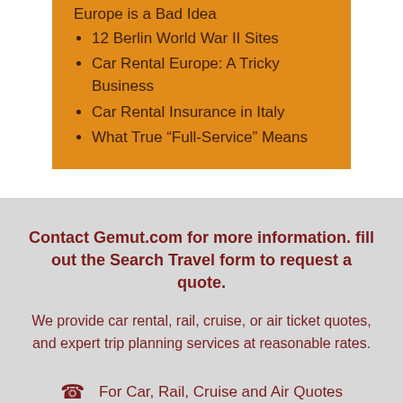Europe is a Bad Idea
12 Berlin World War II Sites
Car Rental Europe: A Tricky Business
Car Rental Insurance in Italy
What True “Full-Service” Means
Contact Gemut.com for more information. fill out the Search Travel form to request a quote.
We provide car rental, rail, cruise, or air ticket quotes, and expert trip planning services at reasonable rates.
For Car, Rail, Cruise and Air Quotes